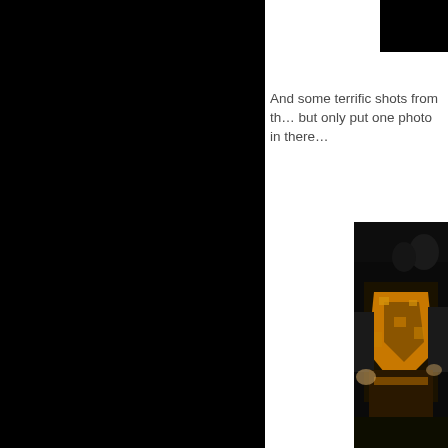And some terrific shots from th… but only put one photo in there…
[Figure (photo): Partial photo visible on the right side of the page showing a person in dark and yellow/gold patterned clothing in a dark indoor setting]